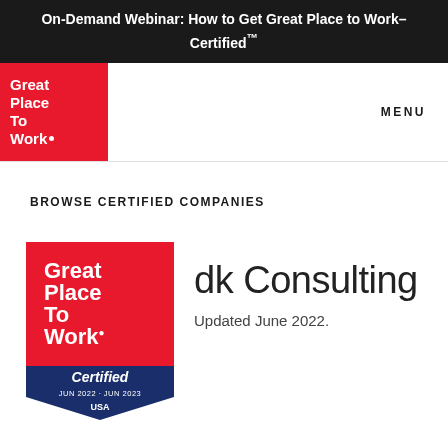On-Demand Webinar: How to Get Great Place to Work-Certified™
[Figure (logo): Great Place To Work logo in red square, navigation header]
MENU
BROWSE CERTIFIED COMPANIES
[Figure (logo): Great Place To Work Certified badge — JUN 2022-JUN 2023, USA]
dk Consulting
Updated June 2022.